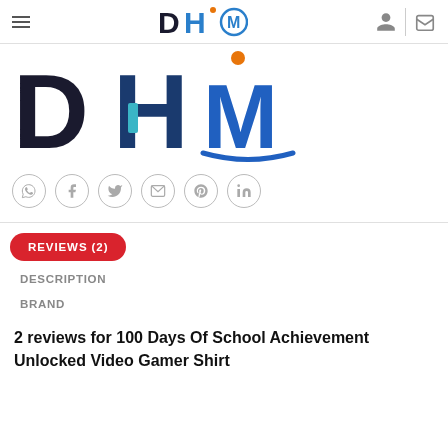DHM logo header with hamburger menu and icons
[Figure (logo): Large DHM brand logo with Hebrew-style lettering in dark navy, teal, and blue colors]
[Figure (infographic): Social share icons row: WhatsApp, Facebook, Twitter, Email, Pinterest, LinkedIn - all in circular outlines]
REVIEWS (2)
DESCRIPTION
BRAND
2 reviews for 100 Days Of School Achievement Unlocked Video Gamer Shirt